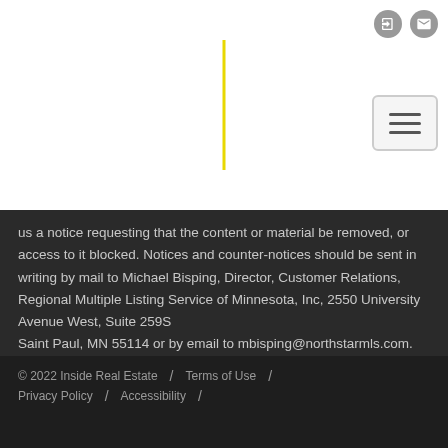[navigation header with yellow vertical line, icons, and hamburger menu]
us a notice requesting that the content or material be removed, or access to it blocked. Notices and counter-notices should be sent in writing by mail to Michael Bisping, Director, Customer Relations, Regional Multiple Listing Service of Minnesota, Inc, 2550 University Avenue West, Suite 259S Saint Paul, MN 55114 or by email to mbisping@northstarmls.com. Questions can be directed by phone to 651-251-3200.
© 2022 Inside Real Estate  /  Terms of Use  /  Privacy Policy  /  Accessibility  /